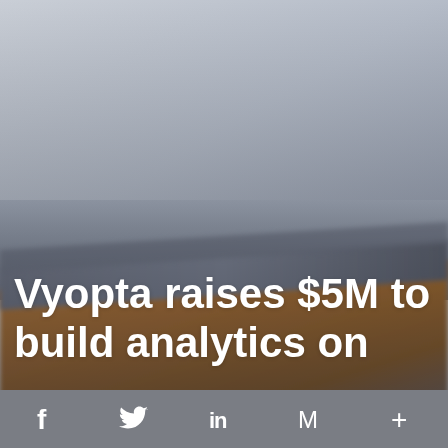[Figure (photo): Hero image showing a blurred laptop or device on a wooden desk surface, with a blue-gray background. The image is partially obscured by the article headline overlaid at the bottom.]
Vyopta raises $5M to build analytics on
[Figure (infographic): Social sharing toolbar at the bottom with icons for Facebook (f), Twitter (bird), LinkedIn (in), Gmail (M), and a plus (+) button, on a gray background.]